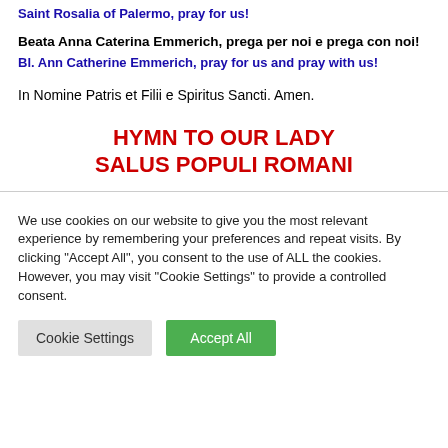Saint Rosalia of Palermo, pray for us!
Beata Anna Caterina Emmerich, prega per noi e prega con noi!
Bl. Ann Catherine Emmerich, pray for us and pray with us!
In Nomine Patris et Filii e Spiritus Sancti. Amen.
HYMN TO OUR LADY SALUS POPULI ROMANI
We use cookies on our website to give you the most relevant experience by remembering your preferences and repeat visits. By clicking "Accept All", you consent to the use of ALL the cookies. However, you may visit "Cookie Settings" to provide a controlled consent.
Cookie Settings | Accept All